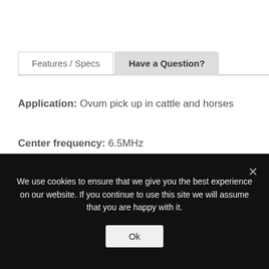Features / Specs | Have a Question?
Application: Ovum pick up in cattle and horses
Center frequency: 6.5MHz
Display Frequency: 5-7.5MHz
ROC (Radius of Curvature): 10mm
We use cookies to ensure that we give you the best experience on our website. If you continue to use this site we will assume that you are happy with it.